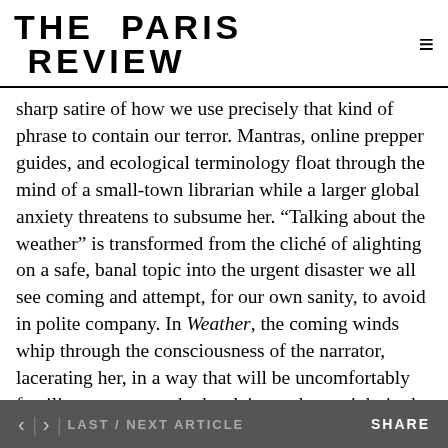THE PARIS REVIEW
sharp satire of how we use precisely that kind of phrase to contain our terror. Mantras, online prepper guides, and ecological terminology float through the mind of a small-town librarian while a larger global anxiety threatens to subsume her. “Talking about the weather” is transformed from the cliché of alighting on a safe, banal topic into the urgent disaster we all see coming and attempt, for our own sanity, to avoid in polite company. In Weather, the coming winds whip through the consciousness of the narrator, lacerating her, in a way that will be uncomfortably familiar to anyone who has lain awake at night in the past decade. “How does the last generation know it’s the last?” —Nadja Spiegelman
Cassie Donish’s On the Mezzanine is a small book that
< > LAST / NEXT ARTICLE   SHARE